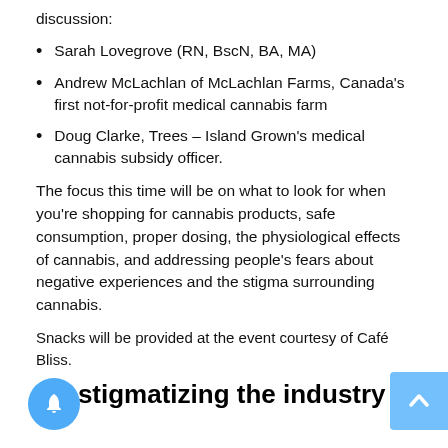discussion:
Sarah Lovegrove (RN, BscN, BA, MA)
Andrew McLachlan of McLachlan Farms, Canada's first not-for-profit medical cannabis farm
Doug Clarke, Trees – Island Grown's medical cannabis subsidy officer.
The focus this time will be on what to look for when you're shopping for cannabis products, safe consumption, proper dosing, the physiological effects of cannabis, and addressing people's fears about negative experiences and the stigma surrounding cannabis.
Snacks will be provided at the event courtesy of Café Bliss.
De-stigmatizing the industry